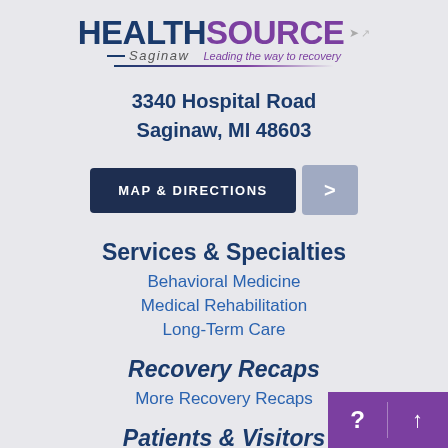[Figure (logo): HealthSource Saginaw logo with tagline 'Leading the way to recovery']
3340 Hospital Road
Saginaw, MI 48603
[Figure (infographic): MAP & DIRECTIONS button with dark navy background and a grey arrow button]
Services & Specialties
Behavioral Medicine
Medical Rehabilitation
Long-Term Care
Recovery Recaps
More Recovery Recaps
Patients & Visitors
Visiting & Facility Hours